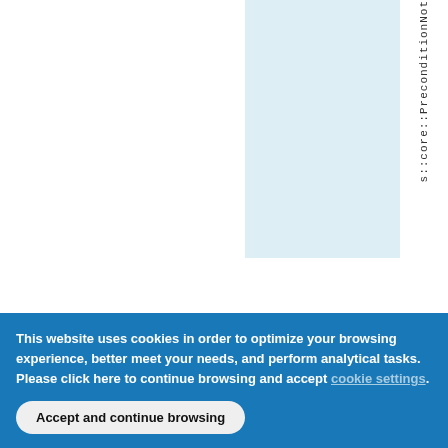[Figure (screenshot): A webpage screenshot showing a table with three columns: a wide white column on the left, a light blue column in the middle, and a narrow white column on the right containing vertical/rotated text reading 's::core::PreconditionNot...']
This website uses cookies in order to optimize your browsing experience, better meet your needs, and perform analytical tasks. Please click here to continue browsing and accept [cookie settings].
Accept and continue browsing